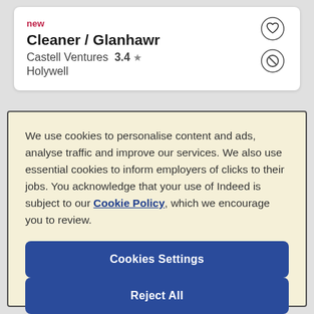new
Cleaner / Glanhawr
Castell Ventures  3.4 ★
Holywell
We use cookies to personalise content and ads, analyse traffic and improve our services. We also use essential cookies to inform employers of clicks to their jobs. You acknowledge that your use of Indeed is subject to our Cookie Policy, which we encourage you to review.
Cookies Settings
Reject All
Accept All Cookies